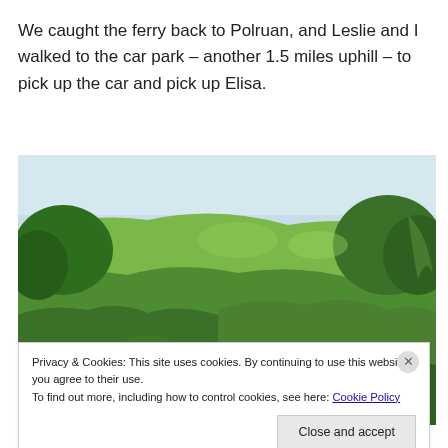We caught the ferry back to Polruan, and Leslie and I walked to the car park – another 1.5 miles uphill – to pick up the car and pick up Elisa.
[Figure (photo): Photograph of a lush green hillside with trees and shrubs under a pale sky]
Privacy & Cookies: This site uses cookies. By continuing to use this website, you agree to their use.
To find out more, including how to control cookies, see here: Cookie Policy